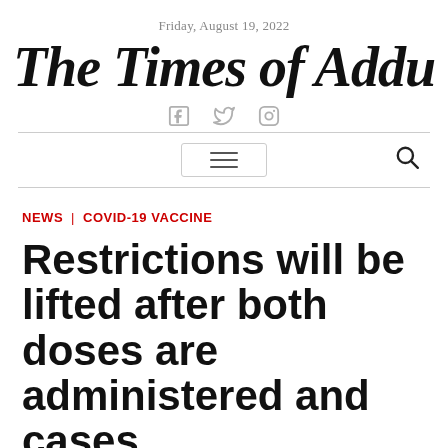Friday, August 19, 2022
The Times of Addu
[Figure (other): Social media icons: Facebook, Twitter, Instagram]
[Figure (other): Navigation bar with hamburger menu button and search icon]
NEWS | COVID-19 VACCINE
Restrictions will be lifted after both doses are administered and cases